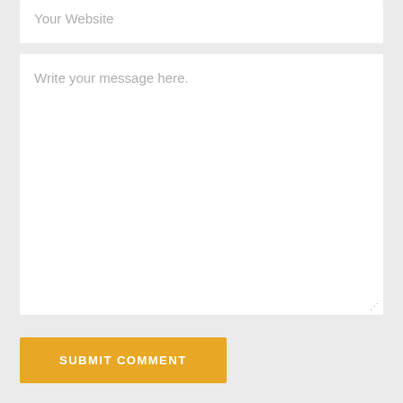Your Website
Write your message here.
SUBMIT COMMENT